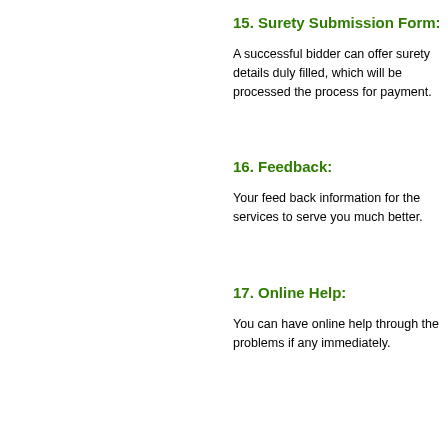15. Surety Submission Form:
A successful bidder can offer surety details duly filled, which will be processed the process for payment.
16. Feedback:
Your feed back information for the services to serve you much better.
17. Online Help:
You can have online help through the problems if any immediately.